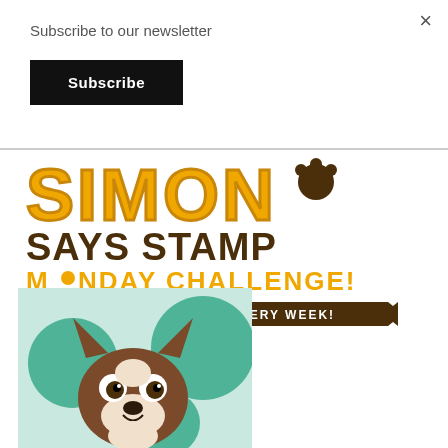×
Subscribe to our newsletter
Subscribe
[Figure (logo): Simon Says Stamp Monday Challenge logo with yellow and brown text, paw print icon, and banner reading A NEW CHALLENGE EVERY WEEK!]
[Figure (illustration): Cartoon illustration of a brown and white Boston Terrier dog on a mint green background with teal polka dots]